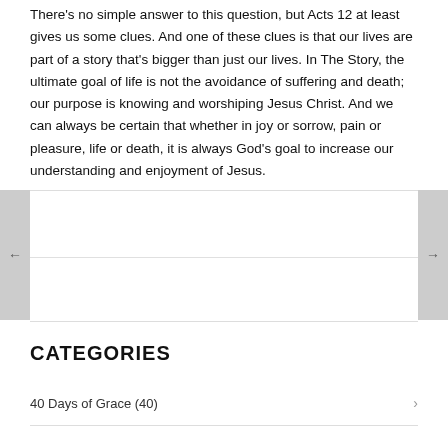There's no simple answer to this question, but Acts 12 at least gives us some clues. And one of these clues is that our lives are part of a story that's bigger than just our lives. In The Story, the ultimate goal of life is not the avoidance of suffering and death; our purpose is knowing and worshiping Jesus Christ. And we can always be certain that whether in joy or sorrow, pain or pleasure, life or death, it is always God's goal to increase our understanding and enjoyment of Jesus.
CATEGORIES
40 Days of Grace (40)